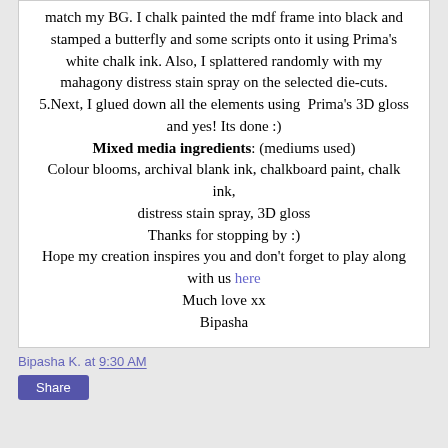match my BG. I chalk painted the mdf frame into black and stamped a butterfly and some scripts onto it using Prima's white chalk ink. Also, I splattered randomly with my mahagony distress stain spray on the selected die-cuts.
5.Next, I glued down all the elements using Prima's 3D gloss and yes! Its done :)
Mixed media ingredients: (mediums used) Colour blooms, archival blank ink, chalkboard paint, chalk ink, distress stain spray, 3D gloss
Thanks for stopping by :) Hope my creation inspires you and don't forget to play along with us here
Much love xx Bipasha
Bipasha K. at 9:30 AM